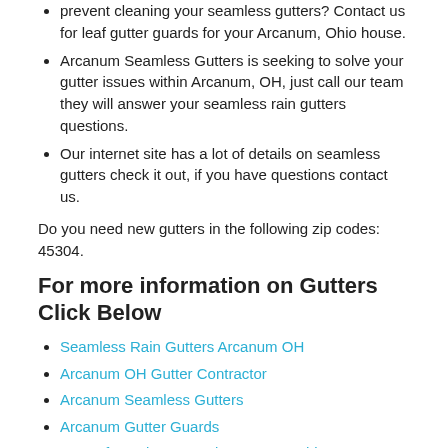prevent cleaning your seamless gutters? Contact us for leaf gutter guards for your Arcanum, Ohio house.
Arcanum Seamless Gutters is seeking to solve your gutter issues within Arcanum, OH, just call our team they will answer your seamless rain gutters questions.
Our internet site has a lot of details on seamless gutters check it out, if you have questions contact us.
Do you need new gutters in the following zip codes: 45304.
For more information on Gutters Click Below
Seamless Rain Gutters Arcanum OH
Arcanum OH Gutter Contractor
Arcanum Seamless Gutters
Arcanum Gutter Guards
Quote for Rain Gutters in Arcanum Ohio
[forecast location="39.9900504,-84.553286" caption="Weather for Arcanum" measurement='F' todaylabel="Today" datelabel="date('m/d/Y')" highlow='%%high%%°/%%low%%°' numdays="5" iconset="Contemporary" class="css_table_class" cache="true" width="100%"]